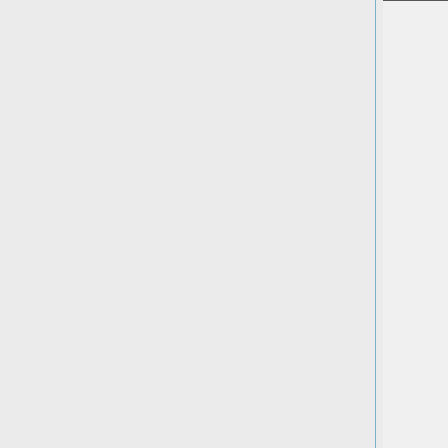|  |  | - Data
Data R
& Data
Async
- Bi-di
Inform
- Exter

Decisions/Issue
• White pap
the descri
the above
(esp. the r
coordinati

Action(s):
• Update DI
proposals
discussion |
|  |  | Status/Discussi |